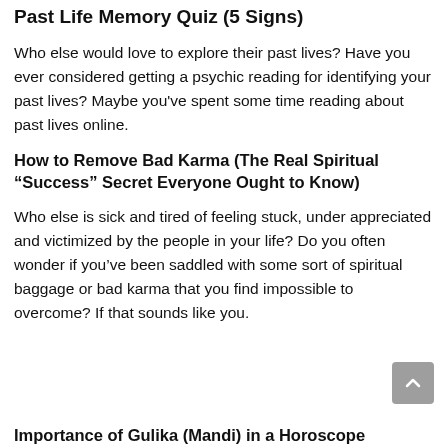Past Life Memory Quiz (5 Signs)
Who else would love to explore their past lives? Have you ever considered getting a psychic reading for identifying your past lives? Maybe you've spent some time reading about past lives online.
How to Remove Bad Karma (The Real Spiritual “Success” Secret Everyone Ought to Know)
Who else is sick and tired of feeling stuck, under appreciated and victimized by the people in your life? Do you often wonder if you’ve been saddled with some sort of spiritual baggage or bad karma that you find impossible to overcome? If that sounds like you.
Importance of Gulika (Mandi) in a Horoscope